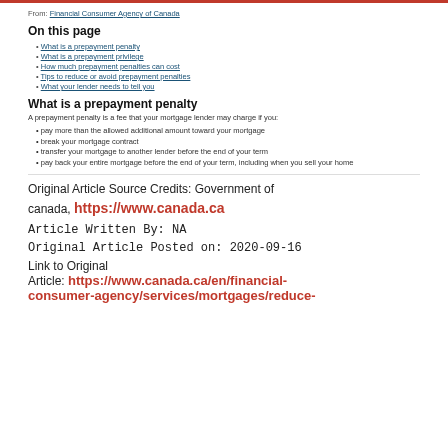From: Financial Consumer Agency of Canada
On this page
What is a prepayment penalty
What is a prepayment privilege
How much prepayment penalties can cost
Tips to reduce or avoid prepayment penalties
What your lender needs to tell you
What is a prepayment penalty
A prepayment penalty is a fee that your mortgage lender may charge if you:
pay more than the allowed additional amount toward your mortgage
break your mortgage contract
transfer your mortgage to another lender before the end of your term
pay back your entire mortgage before the end of your term, including when you sell your home
Original Article Source Credits: Government of canada, https://www.canada.ca
Article Written By: NA
Original Article Posted on: 2020-09-16
Link to Original Article: https://www.canada.ca/en/financial-consumer-agency/services/mortgages/reduce-